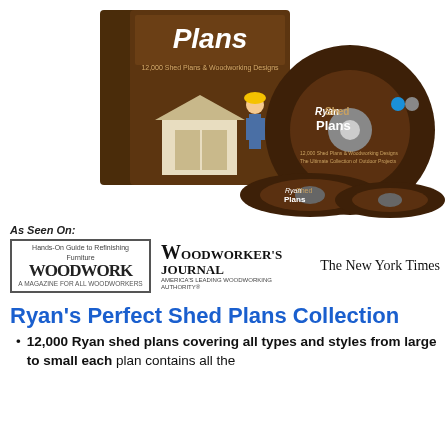[Figure (photo): Product image showing RyanShed Plans book and multiple CDs/DVDs with brown design featuring a shed and contractor]
As Seen On:
[Figure (logo): Three media logos: Woodwork magazine, Woodworker's Journal, and The New York Times]
Ryan's Perfect Shed Plans Collection
12,000 Ryan shed plans covering all types and styles from large to small each plan contains all the